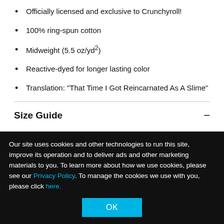Officially licensed and exclusive to Crunchyroll!
100% ring-spun cotton
Midweight (5.5 oz/yd²)
Reactive-dyed for longer lasting color
Translation: "That Time I Got Reincarnated As A Slime"
Size Guide
Regular fit
Recommended sizing up if in between sizes
Pre-washed to minimize shrinkage
Our site uses cookies and other technologies to run this site, improve its operation and to deliver ads and other marketing materials to you. To learn more about how we use cookies, please see our Privacy Policy. To manage the cookies we use with you, please click here.